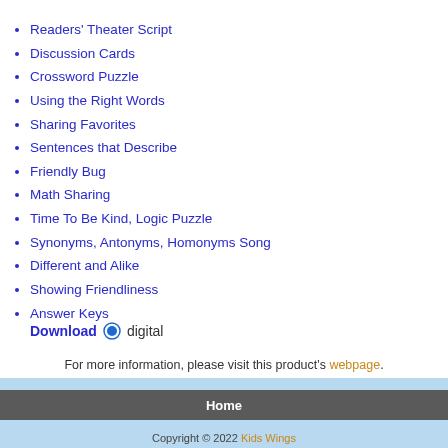Readers' Theater Script
Discussion Cards
Crossword Puzzle
Using the Right Words
Sharing Favorites
Sentences that Describe
Friendly Bug
Math Sharing
Time To Be Kind, Logic Puzzle
Synonyms, Antonyms, Homonyms Song
Different and Alike
Showing Friendliness
Answer Keys
Download  digital
For more information, please visit this product's webpage.
Home
Copyright © 2022 Kids Wings